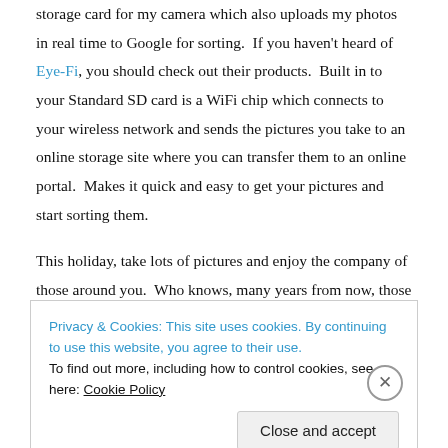storage card for my camera which also uploads my photos in real time to Google for sorting.  If you haven't heard of Eye-Fi, you should check out their products.  Built in to your Standard SD card is a WiFi chip which connects to your wireless network and sends the pictures you take to an online storage site where you can transfer them to an online portal.  Makes it quick and easy to get your pictures and start sorting them.
This holiday, take lots of pictures and enjoy the company of those around you.  Who knows, many years from now, those candid camera phone shots may be some of your best memories.
Privacy & Cookies: This site uses cookies. By continuing to use this website, you agree to their use.
To find out more, including how to control cookies, see here: Cookie Policy